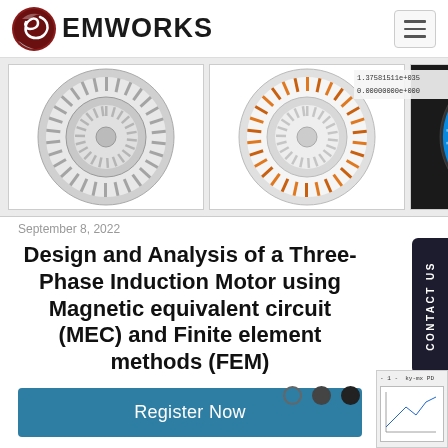EMWORKS
[Figure (photo): Three motor cross-section views: grayscale stator/rotor, orange-highlighted windings, and rainbow colormap flux density visualization]
September 8, 2022
Design and Analysis of a Three-Phase Induction Motor using Magnetic equivalent circuit (MEC) and Finite element methods (FEM)
Register Now